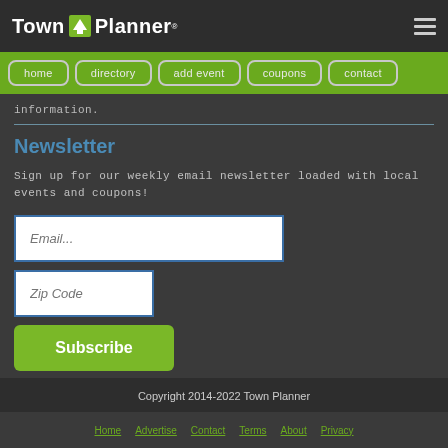Town Planner
home  directory  add event  coupons  contact
information.
Newsletter
Sign up for our weekly email newsletter loaded with local events and coupons!
Email...
Zip Code
Subscribe
Copyright 2014-2022 Town Planner